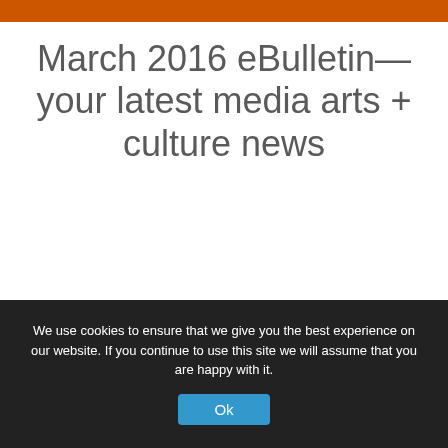March 2016 eBulletin—your latest media arts + culture news
BY ROSE IN COPYRIGHT, DOCUMENTARY, EBULLETIN, EDUCATION, ENVIRONMENT, FILM, INTERNATIONAL, INTERNET, JOURNALISM, LEADERSHIP, MEDIA LITERACY, PHOTOGRAPHY, POLICY, RACE, RADIO, STORYTELLING, TECHNOLOGY, TELEVISION, WOMEN, YOUTH TAGS EBULLETIN, NAMAC
We use cookies to ensure that we give you the best experience on our website. If you continue to use this site we will assume that you are happy with it.